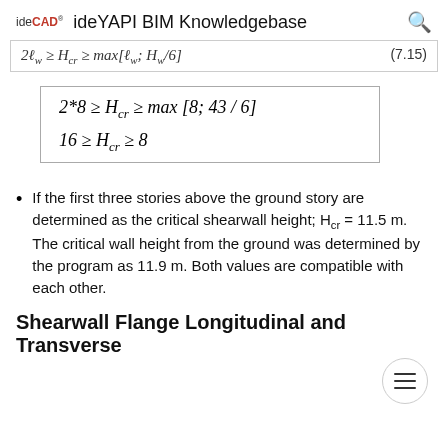ideCAD   ideYAPI BIM Knowledgebase
If the first three stories above the ground story are determined as the critical shearwall height; H cr = 11.5 m. The critical wall height from the ground was determined by the program as 11.9 m. Both values are compatible with each other.
Shearwall Flange Longitudinal and Transverse